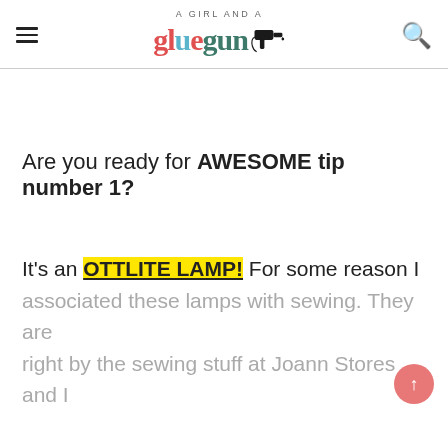A Girl and a Glue Gun
Are you ready for AWESOME tip number 1?
It's an OTTLITE LAMP! For some reason I associated these lamps with sewing. They are right by the sewing stuff at Joann Stores and I